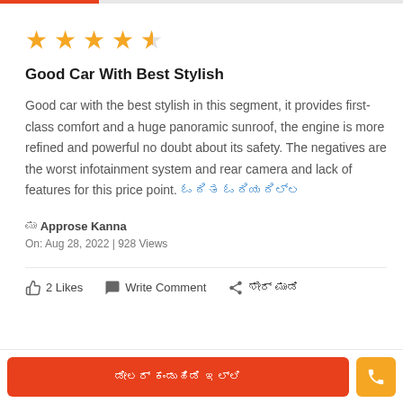[Figure (other): Star rating: 4.5 out of 5 stars (4 full stars, 1 half star), shown in orange]
Good Car With Best Stylish
Good car with the best stylish in this segment, it provides first-class comfort and a huge panoramic sunroof, the engine is more refined and powerful no doubt about its safety. The negatives are the worst infotainment system and rear camera and lack of features for this price point. [non-latin script text]
[script chars] Approse Kanna
On: Aug 28, 2022 | 928 Views
2 Likes   Write Comment   [share icon] [non-latin script text]